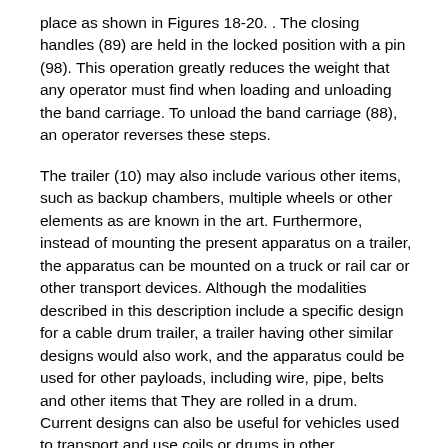place as shown in Figures 18-20. . The closing handles (89) are held in the locked position with a pin (98). This operation greatly reduces the weight that any operator must find when loading and unloading the band carriage. To unload the band carriage (88), an operator reverses these steps.
The trailer (10) may also include various other items, such as backup chambers, multiple wheels or other elements as are known in the art. Furthermore, instead of mounting the present apparatus on a trailer, the apparatus can be mounted on a truck or rail car or other transport devices. Although the modalities described in this description include a specific design for a cable drum trailer, a trailer having other similar designs would also work, and the apparatus could be used for other payloads, including wire, pipe, belts and other items that They are rolled in a drum. Current designs can also be useful for vehicles used to transport and use coils or drums in other applications. The present invention has the following advantages with respect to the previous techniques of this technique. Although embodiments of the present invention have been described, various modifications and changes may be